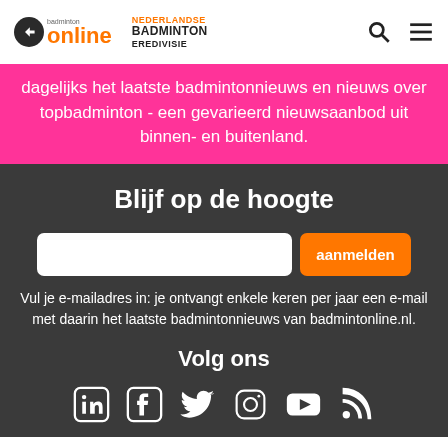[Figure (logo): Badmintonline logo with orange 'online' text and Nederlandse Badminton Eredivisie logo, plus search and menu icons]
dagelijks het laatste badmintonnieuws en nieuws over topbadminton - een gevarieerd nieuwsaanbod uit binnen- en buitenland.
Blijf op de hoogte
Vul je e-mailadres in: je ontvangt enkele keren per jaar een e-mail met daarin het laatste badmintonnieuws van badmintonline.nl.
Volg ons
[Figure (illustration): Social media icons: LinkedIn, Facebook, Twitter, Instagram, YouTube, RSS]